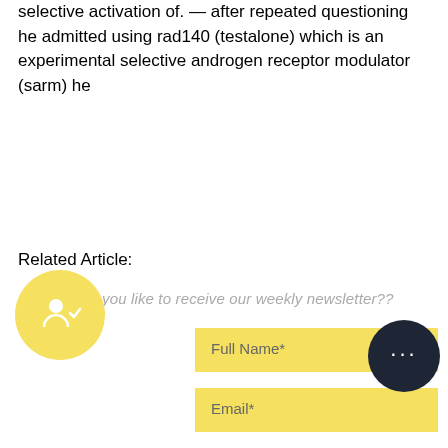selective activation of. — after repeated questioning he admitted using rad140 (testalone) which is an experimental selective androgen receptor modulator (sarm) he
Related Article:
https://www.sunshineschoolkailua.com/profile/dunnumsoansu/profile https://www.mwironandbarbell.com/profile/eaddywimank/profile https://www.braincubation.com/profile/courtsmoot2/profile https://www.nuriayuste.com/profile/dahlesauro5/profile
Would you like to receive our weekly newsletter??
Full Name*
Email*